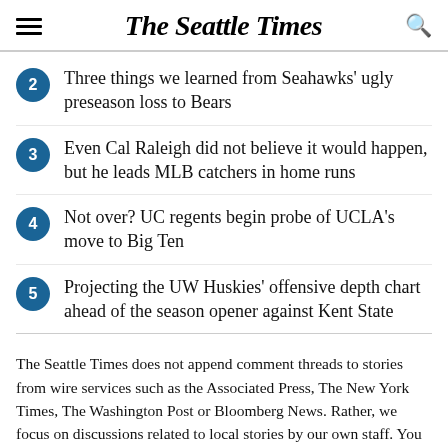The Seattle Times
Three things we learned from Seahawks' ugly preseason loss to Bears
Even Cal Raleigh did not believe it would happen, but he leads MLB catchers in home runs
Not over? UC regents begin probe of UCLA's move to Big Ten
Projecting the UW Huskies' offensive depth chart ahead of the season opener against Kent State
The Seattle Times does not append comment threads to stories from wire services such as the Associated Press, The New York Times, The Washington Post or Bloomberg News. Rather, we focus on discussions related to local stories by our own staff. You can